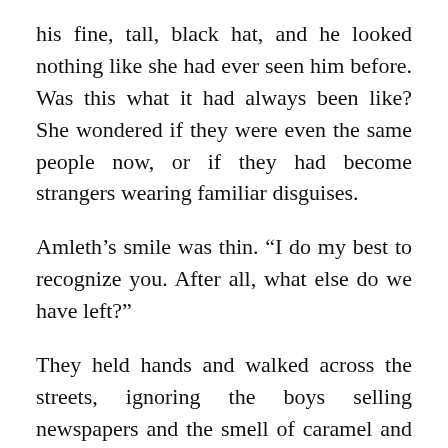his fine, tall, black hat, and he looked nothing like she had ever seen him before. Was this what it had always been like? She wondered if they were even the same people now, or if they had become strangers wearing familiar disguises.
Amleth’s smile was thin. “I do my best to recognize you. After all, what else do we have left?”
They held hands and walked across the streets, ignoring the boys selling newspapers and the smell of caramel and coal. They reached the sea-side.
But there was no ship to take them, and